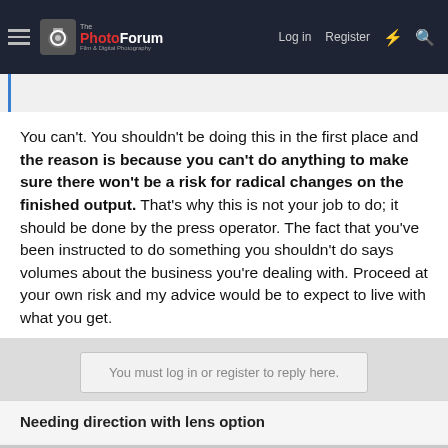The PhotoForum — Log in  Register
You can't. You shouldn't be doing this in the first place and the reason is because you can't do anything to make sure there won't be a risk for radical changes on the finished output. That's why this is not your job to do; it should be done by the press operator. The fact that you've been instructed to do something you shouldn't do says volumes about the business you're dealing with. Proceed at your own risk and my advice would be to expect to live with what you get.

Joe
You must log in or register to reply here.
Needing direction with lens option